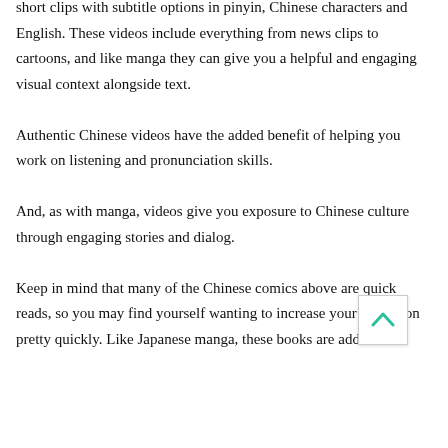short clips with subtitle options in pinyin, Chinese characters and English. These videos include everything from news clips to cartoons, and like manga they can give you a helpful and engaging visual context alongside text. Authentic Chinese videos have the added benefit of helping you work on listening and pronunciation skills. And, as with manga, videos give you exposure to Chinese culture through engaging stories and dialog. Keep in mind that many of the Chinese comics above are quick reads, so you may find yourself wanting to increase your collection pretty quickly. Like Japanese manga, these books are addictive!